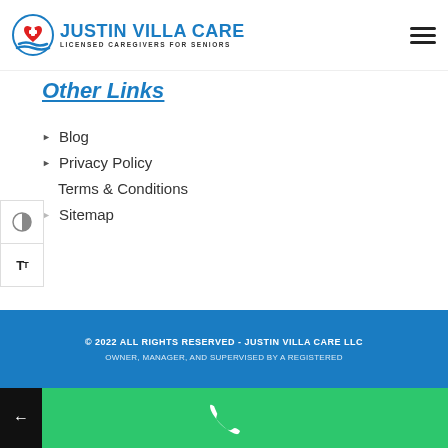[Figure (logo): Justin Villa Care logo with circular icon and text 'JUSTIN VILLA CARE - LICENSED CAREGIVERS FOR SENIORS']
Other Links
Blog
Privacy Policy
Terms & Conditions
Sitemap
[Figure (illustration): Social media icons: Facebook, YouTube, Instagram, LinkedIn, Yelp]
© 2022 ALL RIGHTS RESERVED - JUSTIN VILLA CARE LLC
OWNER, MANAGER, AND SUPERVISED BY A REGISTERED